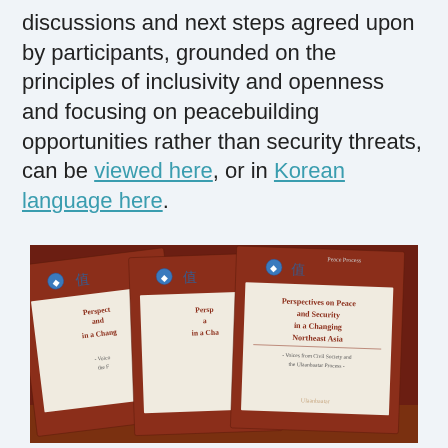discussions and next steps agreed upon by participants, grounded on the principles of inclusivity and openness and focusing on peacebuilding opportunities rather than security threats, can be viewed here, or in Korean language here.
[Figure (photo): Three copies of a book titled 'Perspectives on Peace and Security in a Changing Northeast Asia – Voices from Civil Society and the Ulaanbaatar Process', shown fanned out on a dark reddish-brown surface. Each book has a dark red cover with a white label in the center showing the title in bold text.]